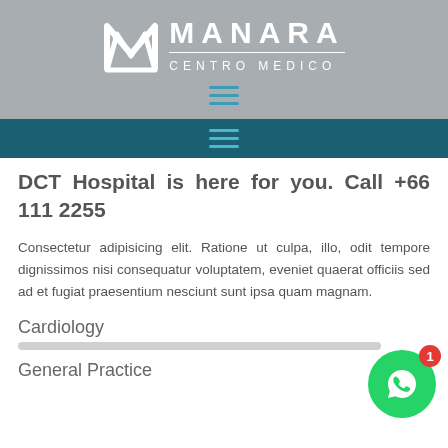[Figure (logo): Manara Centro Medico logo with stylized M icon in white on gray background]
[Figure (other): Hamburger menu icon (teal lines) on gray background]
[Figure (other): Hamburger menu icon (teal lines) on dark teal navigation bar]
DCT Hospital is here for you. Call +66 111 2255
Consectetur adipisicing elit. Ratione ut culpa, illo, odit tempore dignissimos nisi consequatur voluptatem, eveniet quaerat officiis sed ad et fugiat praesentium nesciunt sunt ipsa quam magnam.
Cardiology
General Practice
[Figure (other): WhatsApp floating action button (green circle with chat icon) with red badge showing notification count 1]